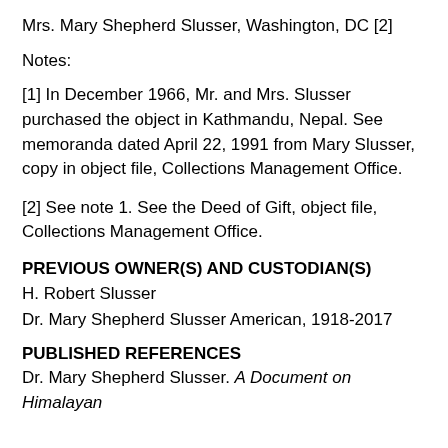Mrs. Mary Shepherd Slusser, Washington, DC [2]
Notes:
[1] In December 1966, Mr. and Mrs. Slusser purchased the object in Kathmandu, Nepal. See memoranda dated April 22, 1991 from Mary Slusser, copy in object file, Collections Management Office.
[2] See note 1. See the Deed of Gift, object file, Collections Management Office.
PREVIOUS OWNER(S) AND CUSTODIAN(S)
H. Robert Slusser
Dr. Mary Shepherd Slusser American, 1918-2017
PUBLISHED REFERENCES
Dr. Mary Shepherd Slusser. A Document on Himalayan